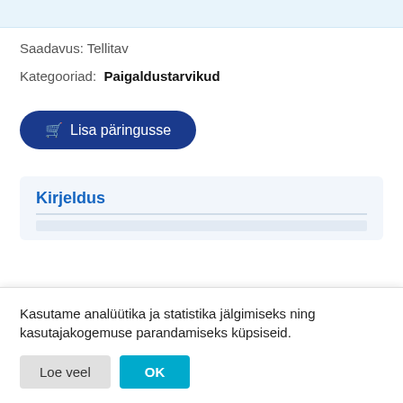[Figure (screenshot): Top bar with light blue background, partially visible product image or navigation element]
Saadavus: Tellitav
Kategooriad:  Paigaldustarvikud
Lisa päringusse
Kirjeldus
Kasutame analüütika ja statistika jälgimiseks ning kasutajakogemuse parandamiseks küpsiseid.
Loe veel
OK